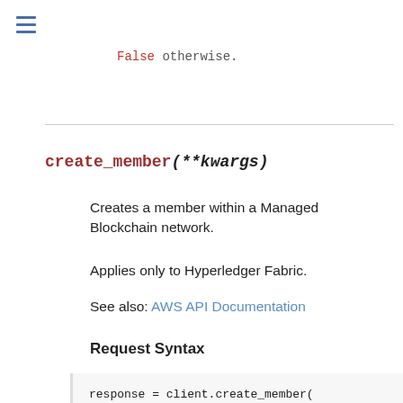≡
False otherwise.
create_member(**kwargs)
Creates a member within a Managed Blockchain network.
Applies only to Hyperledger Fabric.
See also: AWS API Documentation
Request Syntax
response = client.create_member(
    ClientRequestToken='string',
    InvitationId='string',
    NetworkId='string',
    MemberConfiguration={
        'Name': 'string',
        'Description': 'string',
        'FrameworkConfiguration': {